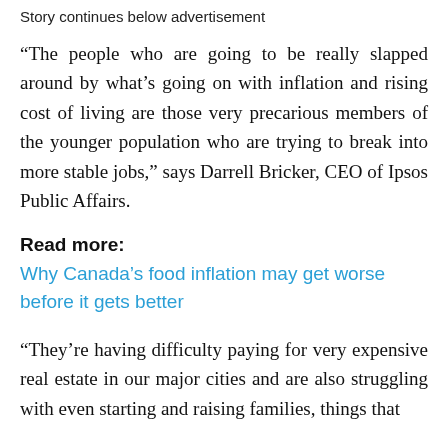Story continues below advertisement
“The people who are going to be really slapped around by what’s going on with inflation and rising cost of living are those very precarious members of the younger population who are trying to break into more stable jobs,” says Darrell Bricker, CEO of Ipsos Public Affairs.
Read more:
Why Canada’s food inflation may get worse before it gets better
“They’re having difficulty paying for very expensive real estate in our major cities and are also struggling with even starting and raising families, things that